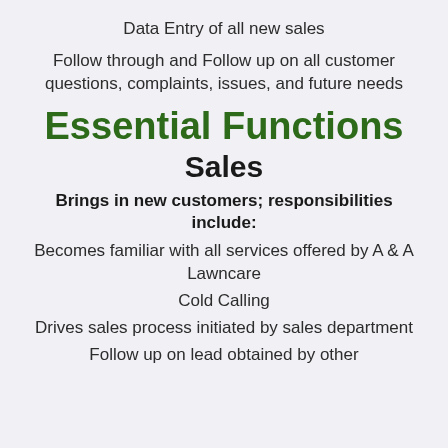Data Entry of all new sales
Follow through and Follow up on all customer questions, complaints, issues, and future needs
Essential Functions
Sales
Brings in new customers; responsibilities include:
Becomes familiar with all services offered by A & A Lawncare
Cold Calling
Drives sales process initiated by sales department
Follow up on lead obtained by other